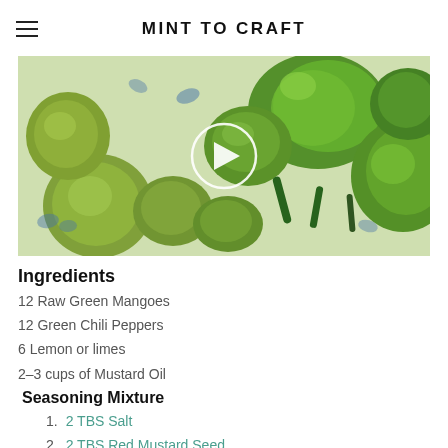MINT TO CRAFT
[Figure (photo): Photo of raw green mangoes and green chili peppers arranged on a blue and white floral patterned surface, with a white circular video play button in the center]
Ingredients
12 Raw Green Mangoes
12 Green Chili Peppers
6 Lemon or limes
2–3 cups of Mustard Oil
Seasoning Mixture
2 TBS Salt
2 TBS Red Mustard Seed